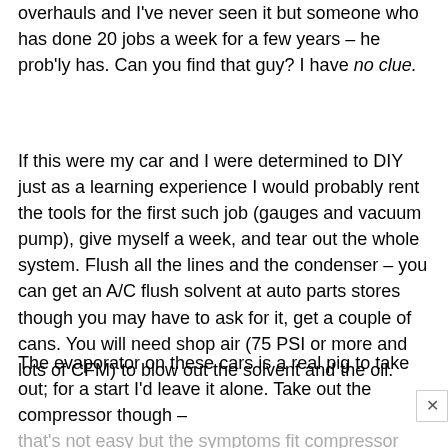recognize the symptom. I've done maybe 10 complete A/C overhauls and I've never seen it but someone who has done 20 jobs a week for a few years – he prob'ly has. Can you find that guy? I have no clue.
If this were my car and I were determined to DIY just as a learning experience I would probably rent the tools for the first such job (gauges and vacuum pump), give myself a week, and tear out the whole system. Flush all the lines and the condenser – you can get an A/C flush solvent at auto parts stores though you may have to ask for it, get a couple of cans. You will need shop air (75 PSI or more and lots of CFM) to blow out the solvent and the oil.
The evaporator on these cars is a real pig to take out; for a start I'd leave it alone. Take out the compressor though – that's not easy but the symptoms fit compressor issues so you can't skip it.